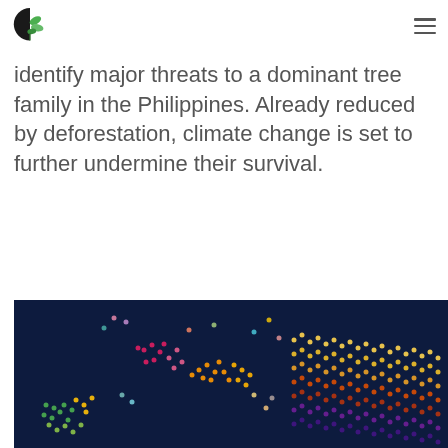identify major threats to a dominant tree family in the Philippines. Already reduced by deforestation, climate change is set to further undermine their survival.
Read More
[Figure (photo): A dark blue world map made of colorful dots in various colors (green, orange, pink, yellow, gold) showing data points across continents, on a dark navy background.]